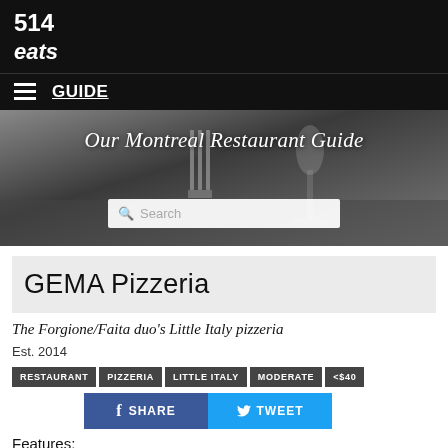514 eats
GUIDE
[Figure (photo): Black and white photo of a restaurant table setting with fork and wine glass in background, overlaid with italic text 'Our Montreal Restaurant Guide' and a search box]
GEMA Pizzeria
The Forgione/Faita duo's Little Italy pizzeria
Est. 2014
RESTAURANT
PIZZERIA
LITTLE ITALY
MODERATE
<$40
SHARE
TWEET
Features: